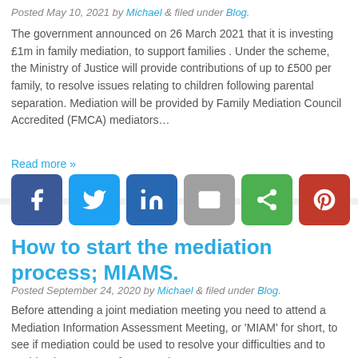Posted May 10, 2021 by Michael & filed under Blog.
The government announced on 26 March 2021 that it is investing £1m in family mediation, to support families . Under the scheme, the Ministry of Justice will provide contributions of up to £500 per family, to resolve issues relating to children following parental separation. Mediation will be provided by Family Mediation Council Accredited (FMCA) mediators…
Read more »
[Figure (infographic): Social sharing icons: Facebook (blue), Twitter (light blue), LinkedIn (dark blue), Email (grey), Share (green), Pinterest (red)]
How to start the mediation process; MIAMS.
Posted September 24, 2020 by Michael & filed under Blog.
Before attending a joint mediation meeting you need to attend a Mediation Information Assessment Meeting, or 'MIAM' for short, to see if mediation could be used to resolve your difficulties and to avoid going to court. If you need to go